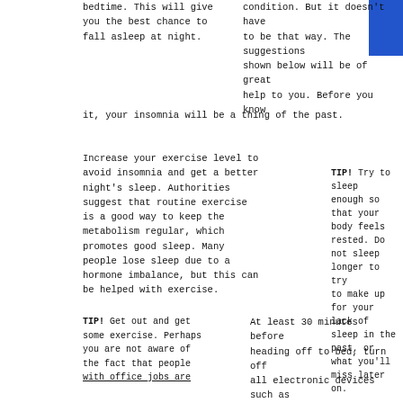bedtime. This will give you the best chance to fall asleep at night.
condition. But it doesn't have to be that way. The suggestions shown below will be of great help to you. Before you know it, your insomnia will be a thing of the past.
Increase your exercise level to avoid insomnia and get a better night's sleep. Authorities suggest that routine exercise is a good way to keep the metabolism regular, which promotes good sleep. Many people lose sleep due to a hormone imbalance, but this can be helped with exercise.
TIP! Try to sleep enough so that your body feels rested. Do not sleep longer to try to make up for your lack of sleep in the past, or what you'll miss later on.
TIP! Get out and get some exercise. Perhaps you are not aware of the fact that people with office jobs are
At least 30 minutes before heading off to bed, turn off all electronic devices such as your computer and television. They can be stimulating to your